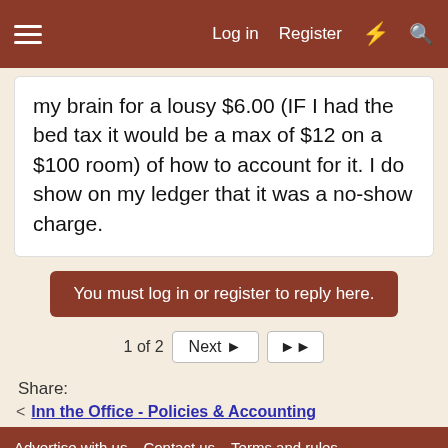Log in  Register
my brain for a lousy $6.00 (IF I had the bed tax it would be a max of $12 on a $100 room) of how to account for it. I do show on my ledger that it was a no-show charge.
You must log in or register to reply here.
1 of 2  Next  ▶▶
Share:
< Inn the Office - Policies & Accounting
Advertise with us  Contact us  Terms and rules  Privacy policy  Help  Home  Community platform by XenForo® © 2010-2022 XenForo Ltd.